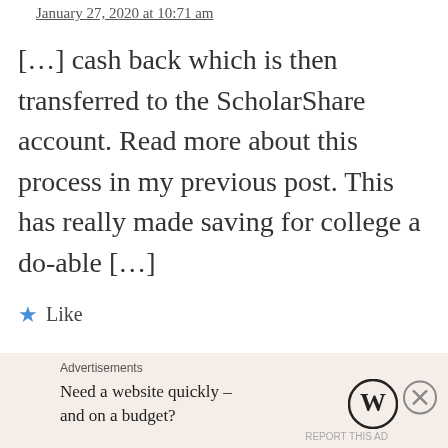January 27, 2020 at 10:71 am
[…] cash back which is then transferred to the ScholarShare account. Read more about this process in my previous post. This has really made saving for college a do-able […]
★ Like
Log in to Reply
You must log in to post a comment.
This site uses Akismet to reduce spam. Learn
Advertisements
Need a website quickly – and on a budget?